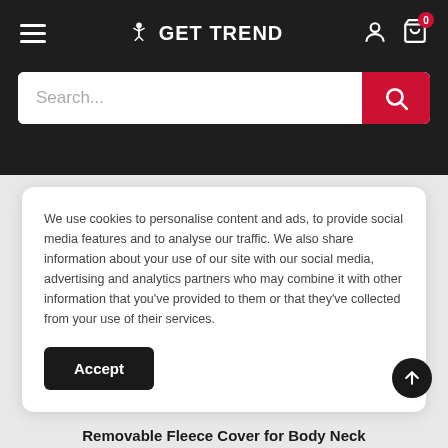[Figure (screenshot): GET TREND e-commerce website header with hamburger menu, logo, user and cart icons, and a search bar with red search button.]
We use cookies to personalise content and ads, to provide social media features and to analyse our traffic. We also share information about your use of our site with our social media, advertising and analytics partners who may combine it with other information that you've provided to them or that they've collected from your use of their services.
Accept
Removable Fleece Cover for Body Neck